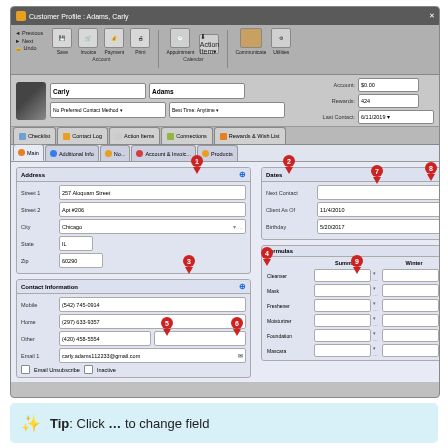[Figure (screenshot): Customer Profile software screen for Adams, Carly showing address fields (257 Aloquam Street, Apt #206, Chicago, IL 60290), contact info (mobile, home, other, email), dates section (Client As Of 11/4/2010, Birthday 5/20/2017), and Formulas section with Summer/Winter columns for Cleanser, Mask, Freshener, Moisturizer, Foundation, Mascara. Numbered red callout markers 1-9 highlight various UI elements.]
Tip: Click … to change field